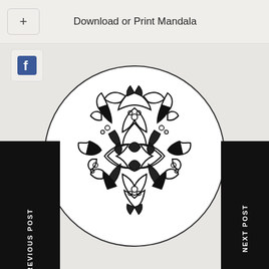Download or Print Mandala
[Figure (illustration): Facebook share button icon - blue F logo in a rounded rectangle box]
[Figure (illustration): Previous Post navigation button - black vertical bar with white rotated text 'PREVIOUS POST']
[Figure (illustration): Black and white mandala coloring page - intricate circular floral/geometric pattern with leaves, curves, and small circles]
[Figure (illustration): Next Post navigation button - black vertical bar with white rotated text 'NEXT POST']
[Figure (illustration): LinkedIn share button icon - blue 'in' logo in a rounded rectangle box]